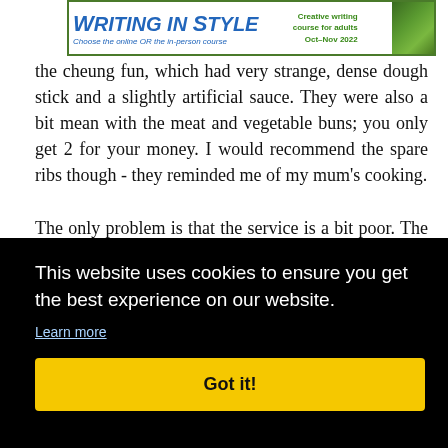[Figure (other): Advertisement banner for 'Writing in Style' creative writing course for adults, Oct-Nov 2022. Choose the online OR the in-person course.]
the cheung fun, which had very strange, dense dough stick and a slightly artificial sauce. They were also a bit mean with the meat and vegetable buns; you only get 2 for your money. I would recommend the spare ribs though - they reminded me of my mum's cooking.
The only problem is that the service is a bit poor. The dishes are not supposed to come all at the same time, but [partially hidden] ...nutes ...rying ...and ...piled
This website uses cookies to ensure you get the best experience on our website.
Learn more
Got it!